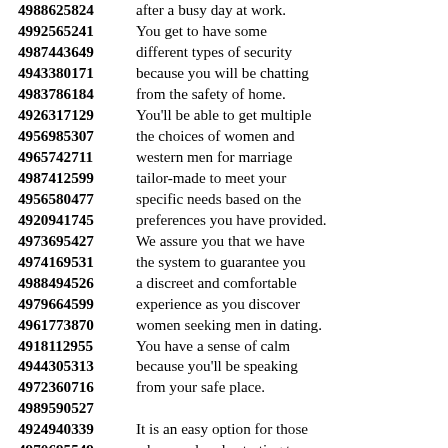4988625824 after a busy day at work. 4992565241 You get to have some 4987443649 different types of security 4943380171 because you will be chatting 4983786184 from the safety of home. 4926317129 You'll be able to get multiple 4956985307 the choices of women and 4965742711 western men for marriage 4987412599 tailor-made to meet your 4956580477 specific needs based on the 4920941745 preferences you have provided. 4973695427 We assure you that we have 4974169531 the system to guarantee you 4988494526 a discreet and comfortable 4979664599 experience as you discover 4961773870 women seeking men in dating. 4918112955 You have a sense of calm 4944305313 because you'll be speaking 4972360716 from your safe place. 4989590527 4924940339 It is an easy option for those 4970695549 who are already starting to 4990689979 get out there and get it done, 4964159643 simple men and women. 4968498876 It's simple and easy way 4908182396 for some members to